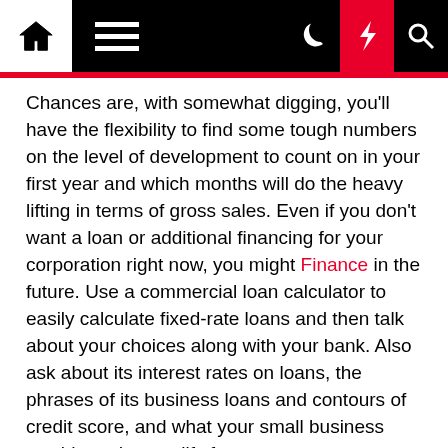Navigation bar with home, menu, moon, lightning, and search icons
Chances are, with somewhat digging, you'll have the flexibility to find some tough numbers on the level of development to count on in your first year and which months will do the heavy lifting in terms of gross sales. Even if you don't want a loan or additional financing for your corporation right now, you might Finance in the future. Use a commercial loan calculator to easily calculate fixed-rate loans and then talk about your choices along with your bank. Also ask about its interest rates on loans, the phrases of its business loans and contours of credit score, and what your small business would need to qualify for a mortgage.
Careers & Wage
From small household businesses to multi-million